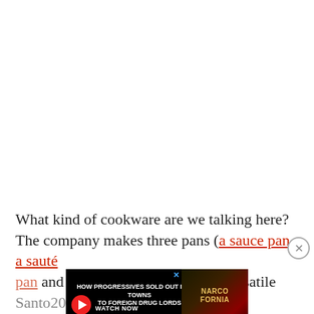What kind of cookware are we talking here? The company makes three pans (a sauce pan, a sauté pan and a skillet) plus a light and versatile Santo... 20 perce...
[Figure (other): Advertisement banner: 'HOW PROGRESSIVES SOLD OUT RURAL TOWNS TO FOREIGN DRUG LORDS' with NARCOFORNIA branding, watch now button, and close (X) button.]